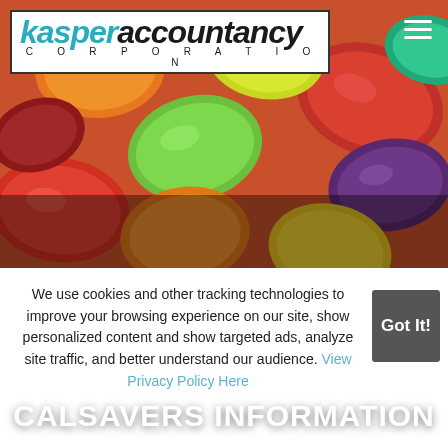[Figure (photo): Close-up photo of colorful jelly beans in various colors including green, red, orange, yellow, purple, used as hero background image]
kasper accountancy corporation
[Figure (other): Hamburger menu icon (three horizontal white lines) in top right corner]
CALSAVERS INFORMATION
We use cookies and other tracking technologies to improve your browsing experience on our site, show personalized content and show targeted ads, analyze site traffic, and better understand our audience. View Privacy Policy Here